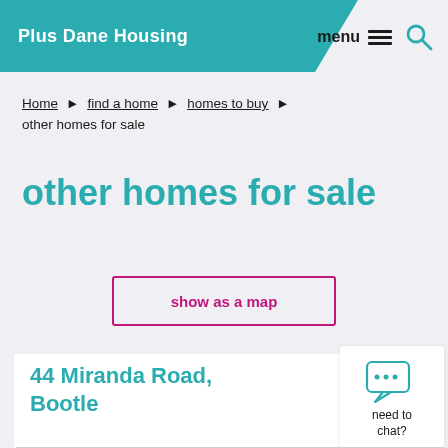Plus Dane Housing
Home ▶ find a home ▶ homes to buy ▶ other homes for sale
other homes for sale
show as a map
44 Miranda Road, Bootle
[Figure (other): Chat widget with speech bubble icon and 'need to chat?' label]